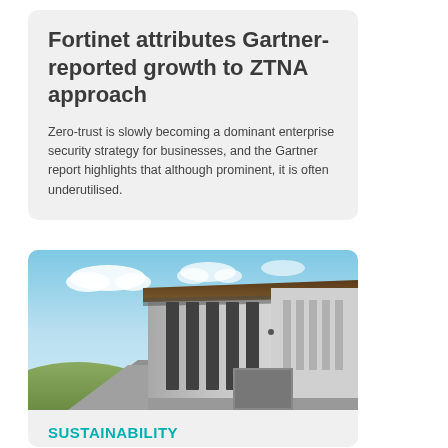Fortinet attributes Gartner-reported growth to ZTNA approach
Zero-trust is slowly becoming a dominant enterprise security strategy for businesses, and the Gartner report highlights that although prominent, it is often underutilised.
[Figure (photo): Exterior photo of a modern industrial or data center building with large vertical window panels and a canopy roof, photographed from ground level with blue sky and clouds in the background.]
SUSTAINABILITY